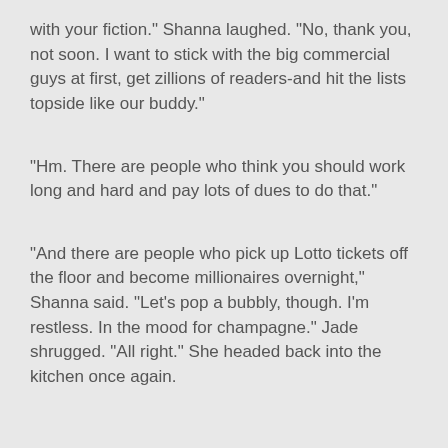with your fiction." Shanna laughed. "No, thank you, not soon. I want to stick with the big commercial guys at first, get zillions of readers-and hit the lists topside like our buddy."
"Hm. There are people who think you should work long and hard and pay lots of dues to do that."
"And there are people who pick up Lotto tickets off the floor and become millionaires overnight," Shanna said. "Let's pop a bubbly, though. I'm restless. In the mood for champagne." Jade shrugged. "All right." She headed back into the kitchen once again.